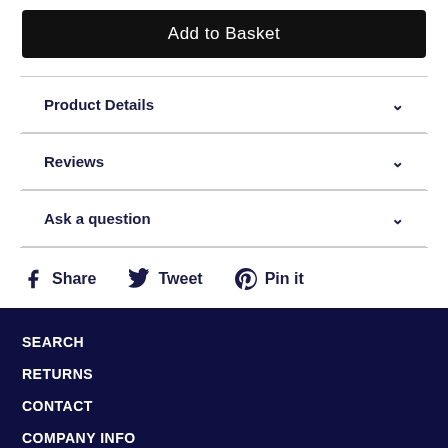Add to Basket
Product Details
Reviews
Ask a question
Share  Tweet  Pin it
SEARCH
RETURNS
CONTACT
COMPANY INFO